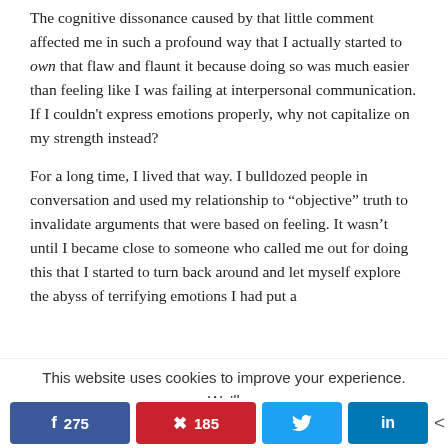The cognitive dissonance caused by that little comment affected me in such a profound way that I actually started to own that flaw and flaunt it because doing so was much easier than feeling like I was failing at interpersonal communication. If I couldn't express emotions properly, why not capitalize on my strength instead?
For a long time, I lived that way. I bulldozed people in conversation and used my relationship to "objective" truth to invalidate arguments that were based on feeling. It wasn't until I became close to someone who called me out for doing this that I started to turn back around and let myself explore the abyss of terrifying emotions I had put a
This website uses cookies to improve your experience. We'll assume you're ok with this, but you can opt-out if you wish.